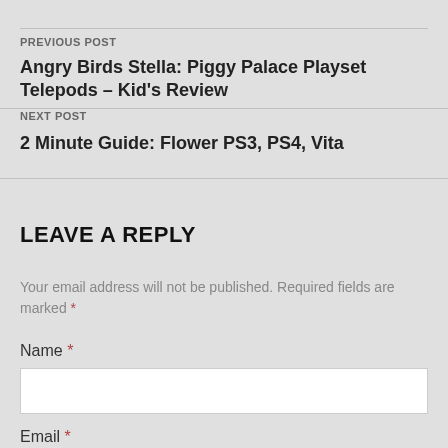PREVIOUS POST
Angry Birds Stella: Piggy Palace Playset Telepods – Kid's Review
NEXT POST
2 Minute Guide: Flower PS3, PS4, Vita
LEAVE A REPLY
Your email address will not be published. Required fields are marked *
Name *
Email *